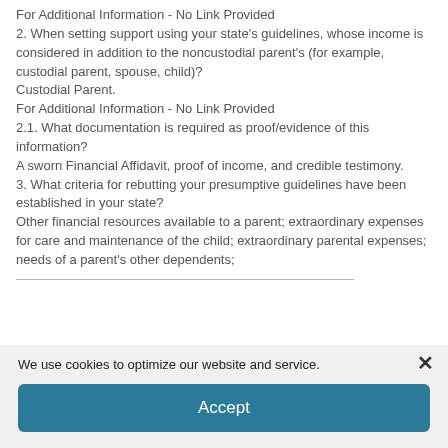For Additional Information - No Link Provided
2. When setting support using your state's guidelines, whose income is considered in addition to the noncustodial parent's (for example, custodial parent, spouse, child)?
Custodial Parent.
For Additional Information - No Link Provided
2.1. What documentation is required as proof/evidence of this information?
A sworn Financial Affidavit, proof of income, and credible testimony.
3. What criteria for rebutting your presumptive guidelines have been established in your state?
Other financial resources available to a parent; extraordinary expenses for care and maintenance of the child; extraordinary parental expenses; needs of a parent's other dependents;
We use cookies to optimize our website and service.
Accept